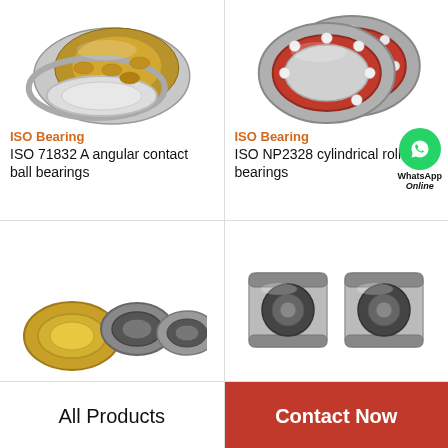[Figure (photo): ISO 71832 A angular contact ball bearing — cylindrical roller bearing with gold/brass cage, silver raceways, two rings shown at angle]
ISO Bearing
ISO 71832 A angular contact ball bearings
[Figure (photo): ISO NP2328 cylindrical roller bearings — two red-rimmed angular contact ball bearings with silver balls visible, overlapping]
ISO Bearing
[Figure (illustration): WhatsApp Online badge — green circle with phone handset icon, text WhatsApp Online below]
ISO NP2328 cylindrical roller bearings
[Figure (photo): Small cylindrical/needle roller bearings, bottom-left, partially visible]
[Figure (photo): Two cylindrical deep-groove ball bearings, silver/gray, side by side]
All Products
Contact Now